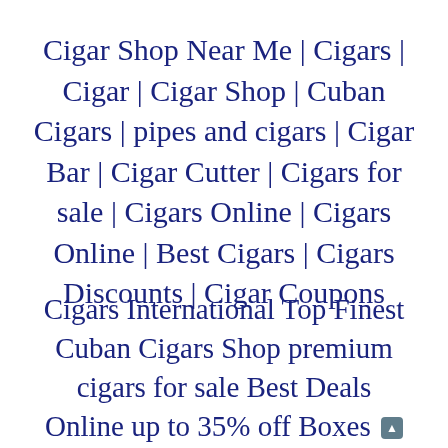Cigar Shop Near Me | Cigars | Cigar | Cigar Shop | Cuban Cigars | pipes and cigars | Cigar Bar | Cigar Cutter | Cigars for sale | Cigars Online | Cigars Online | Best Cigars | Cigars Discounts | Cigar Coupons
Cigars International Top Finest Cuban Cigars Shop premium cigars for sale Best Deals Online up to 35% off Boxes